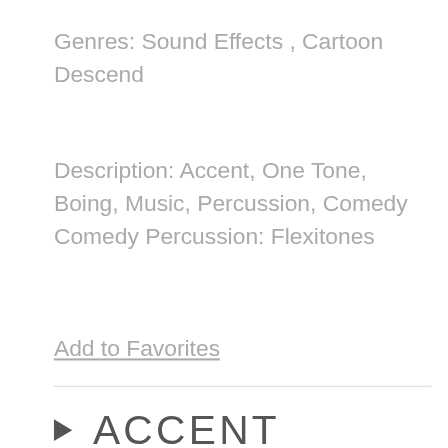Genres: Sound Effects , Cartoon Descend
Description: Accent, One Tone, Boing, Music, Percussion, Comedy Comedy Percussion: Flexitones
Add to Favorites
[Figure (other): Horizontal divider line]
▶ ACCENT